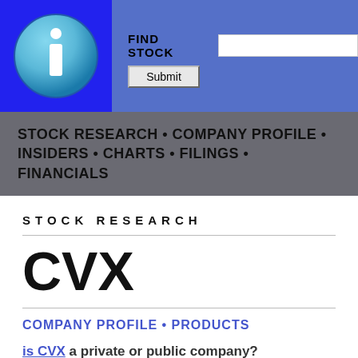[Figure (logo): Blue circle with white lowercase 'i' info icon on blue background]
FIND STOCK  Submit
STOCK RESEARCH • COMPANY PROFILE • INSIDERS • CHARTS • FILINGS • FINANCIALS
STOCK RESEARCH
CVX
COMPANY PROFILE • PRODUCTS
is CVX a private or public company?